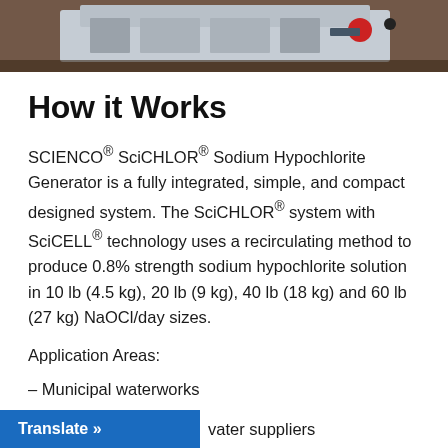[Figure (photo): Photograph of a SCIENCO SciCHLOR sodium hypochlorite generator machine, showing industrial equipment in a facility setting.]
How it Works
SCIENCO® SciCHLOR® Sodium Hypochlorite Generator is a fully integrated, simple, and compact designed system. The SciCHLOR® system with SciCELL® technology uses a recirculating method to produce 0.8% strength sodium hypochlorite solution in 10 lb (4.5 kg), 20 lb (9 kg), 40 lb (18 kg) and 60 lb (27 kg) NaOCl/day sizes.
Application Areas:
– Municipal waterworks
– Private water suppliers